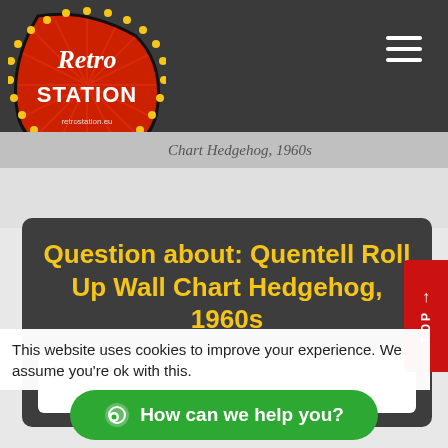[Figure (logo): Retro Station logo — red guitar-pick shaped badge with yellow dot border, white text 'Retro STATION', retro sun-ray background]
Chart Hedgehog, 1960s
Question about: Quentell Roll Up Wall Chart Hedgehog, 1960s
Name *
This website uses cookies to improve your experience. We assume you're ok with this.
How can we help you?